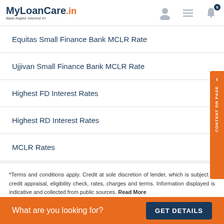MyLoanCare.in - Baat Aapke Interest Ki
Equitas Small Finance Bank MCLR Rate
Ujjivan Small Finance Bank MCLR Rate
Highest FD Interest Rates
Highest RD Interest Rates
MCLR Rates
*Terms and conditions apply. Credit at sole discretion of lender, which is subject to credit appraisal, eligibility check, rates, charges and terms. Information displayed is indicative and collected from public sources. Read More
What are you looking for? GET DETAILS